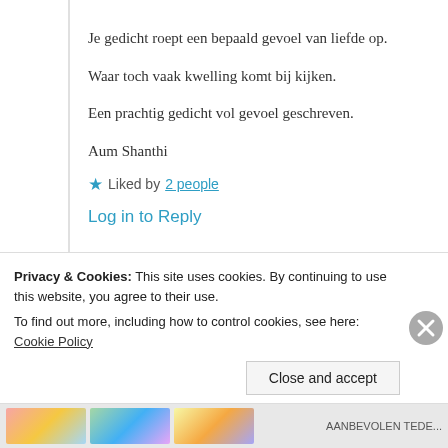Je gedicht roept een bepaald gevoel van liefde op.
Waar toch vaak kwelling komt bij kijken.
Een prachtig gedicht vol gevoel geschreven.
Aum Shanthi
★ Liked by 2 people
Log in to Reply
Privacy & Cookies: This site uses cookies. By continuing to use this website, you agree to their use.
To find out more, including how to control cookies, see here: Cookie Policy
Close and accept